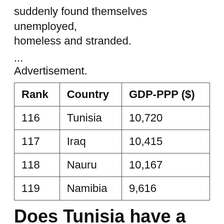suddenly found themselves unemployed, homeless and stranded.
...
Advertisement.
| Rank | Country | GDP-PPP ($) |
| --- | --- | --- |
| 116 | Tunisia | 10,720 |
| 117 | Iraq | 10,415 |
| 118 | Nauru | 10,167 |
| 119 | Namibia | 9,616 |
Does Tunisia have a strong economy?
Tunisia's economy is found to be in 56.6...